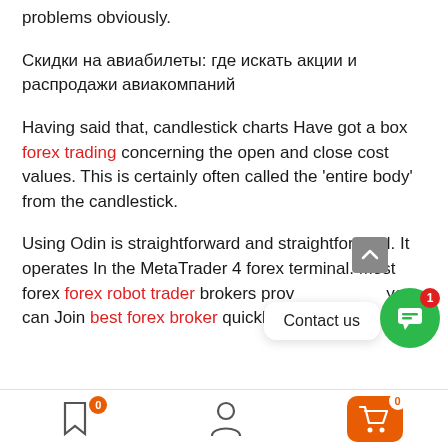problems obviously.
Скидки на авиабилеты: где искать акции и распродажи авиакомпаний
Having said that, candlestick charts Have got a box forex trading concerning the open and close cost values. This is certainly often called the 'entire body' from the candlestick.
Using Odin is straightforward and straightforward. It operates In the MetaTrader 4 forex terminal. Most forex forex robot trader brokers prov[ide] access [so] you can Join best forex broker quickly.
[Figure (screenshot): Mobile app bottom navigation bar with bookmark icon (badge 0), user/profile icon, and orange cart button (badge 0). Scroll-up arrow button on right side. Green chat bubble button with red badge showing 1. White popup showing 'Contact us'.]